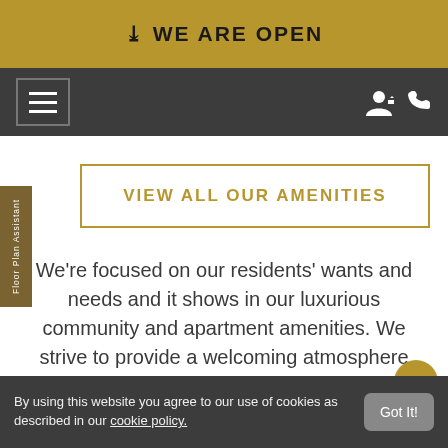WE ARE OPEN
[Figure (screenshot): Navigation bar with hamburger menu icon on the left and user account and phone icons on the right, on a dark grey background]
VIEW ALL OUR AMENITIES
We're focused on our residents' wants and needs and it shows in our luxurious community and apartment amenities. We strive to provide a welcoming atmosphere
By using this website you agree to our use of cookies as described in our cookie policy.
Got It!